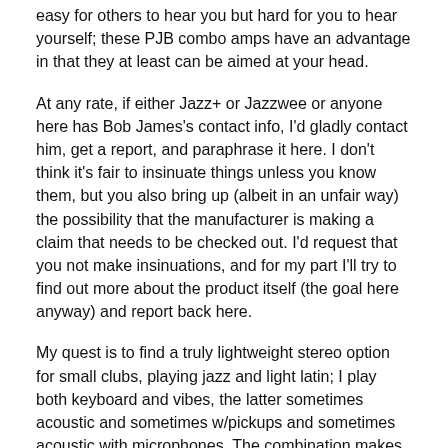easy for others to hear you but hard for you to hear yourself; these PJB combo amps have an advantage in that they at least can be aimed at your head.
At any rate, if either Jazz+ or Jazzwee or anyone here has Bob James's contact info, I'd gladly contact him, get a report, and paraphrase it here. I don't think it's fair to insinuate things unless you know them, but you also bring up (albeit in an unfair way) the possibility that the manufacturer is making a claim that needs to be checked out. I'd request that you not make insinuations, and for my part I'll try to find out more about the product itself (the goal here anyway) and report back here.
My quest is to find a truly lightweight stereo option for small clubs, playing jazz and light latin; I play both keyboard and vibes, the latter sometimes acoustic and sometimes w/pickups and sometimes acoustic with microphones. The combination makes me more marketable but is a real hassle for hauling and setup, which is why I'm scouting ultralight solutions.
Recommendations so far have included the Traynor K4 (at 50 lbs in a single lift, not a great option, but in the running); various